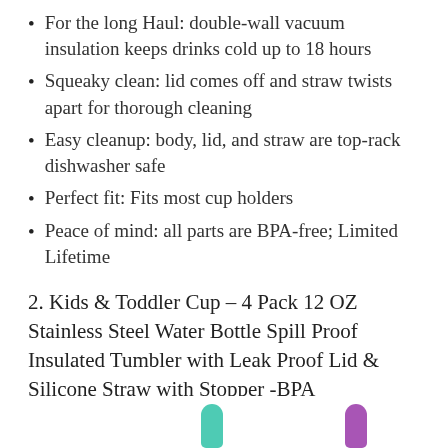For the long Haul: double-wall vacuum insulation keeps drinks cold up to 18 hours
Squeaky clean: lid comes off and straw twists apart for thorough cleaning
Easy cleanup: body, lid, and straw are top-rack dishwasher safe
Perfect fit: Fits most cup holders
Peace of mind: all parts are BPA-free; Limited Lifetime
2. Kids & Toddler Cup – 4 Pack 12 OZ Stainless Steel Water Bottle Spill Proof Insulated Tumbler with Leak Proof Lid & Silicone Straw with Stopper -BPA
[Figure (photo): Partial view of teal and purple silicone straws at bottom of page]